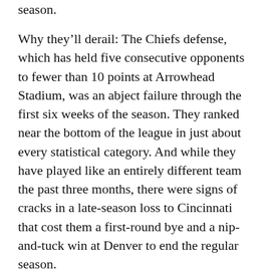season.
Why they'll derail: The Chiefs defense, which has held five consecutive opponents to fewer than 10 points at Arrowhead Stadium, was an abject failure through the first six weeks of the season. They ranked near the bottom of the league in just about every statistical category. And while they have played like an entirely different team the past three months, there were signs of cracks in a late-season loss to Cincinnati that cost them a first-round bye and a nip-and-tuck win at Denver to end the regular season.
“There’s a lot of teams that won’t be out there this week. It’s a blessing, a blessing to be here in Kansas City and have the success we’ve had over my nine years in the league, and we just try to take advantage of those opportunities, because not everybody gets them.” – Kelce.
2. BUFFALO BILLS (13-3). AP Press Ranking: No. 8: No.